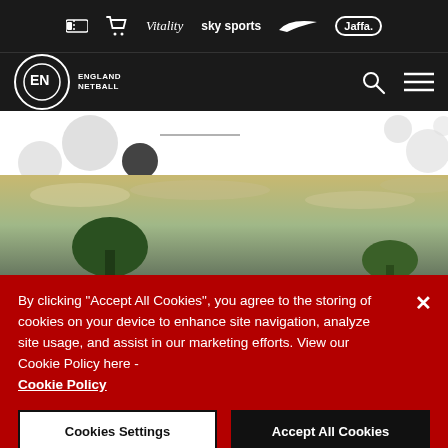[Figure (screenshot): England Netball website screenshot showing sponsor bar with Vitality, Sky Sports, Nike, Jaffa logos, navigation bar with England Netball logo, decorative circles, a photo of trees against sky, and a cookie consent banner with Accept All Cookies and Cookie Settings buttons]
By clicking "Accept All Cookies", you agree to the storing of cookies on your device to enhance site navigation, analyze site usage, and assist in our marketing efforts. View our Cookie Policy here - Cookie Policy
Cookies Settings
Accept All Cookies